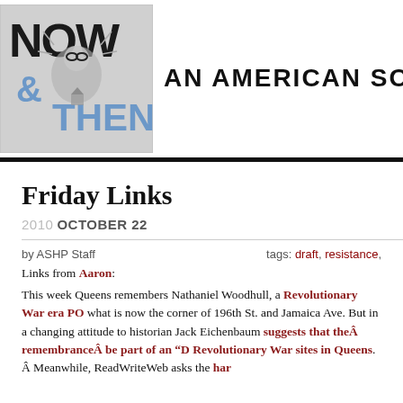[Figure (logo): Now & Then: An American Social History blog logo with illustrated figure wearing goggles and blue stylized text]
Friday Links
2010 OCTOBER 22
by ASHP Staff    tags: draft, resistance,
Links from Aaron:
This week Queens remembers Nathaniel Woodhull, a Revolutionary War era PO what is now the corner of 196th St. and Jamaica Ave. But in a changing attitude t historian Jack Eichenbaum suggests that the remembrance be part of an "D Revolutionary War sites in Queens. Meanwhile, ReadWriteWeb asks the har